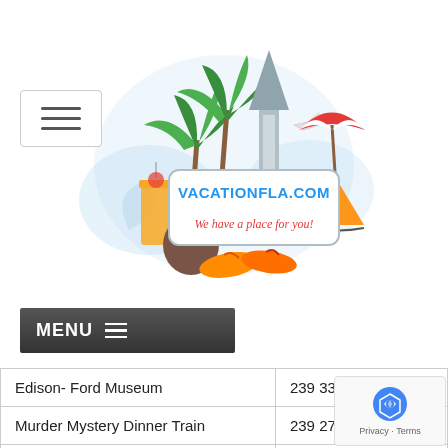[Figure (logo): VacationFla.com website logo with tropical vacation imagery including palm trees, sailboat, beach umbrella, coconut drink, flip flops, and text 'VACATIONFLA.COM We have a place for you!']
[Figure (other): Hamburger menu icon button (three horizontal lines in a rounded rectangle)]
MENU ≡
| Location | Phone |
| --- | --- |
| Edison- Ford Museum | 239 334-74... |
| Murder Mystery Dinner Train | 239 275-84... |
| THEME PARKS |  |